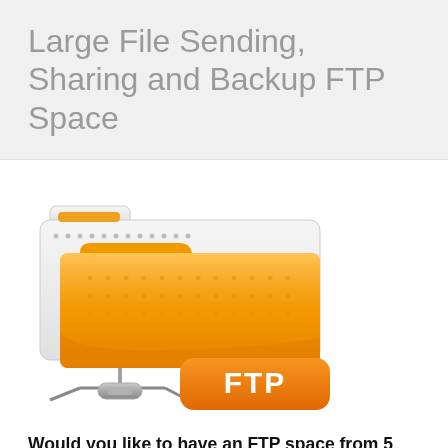Large File Sending, Sharing and Backup FTP Space
[Figure (illustration): Orange folder icon with FTP label badge and network connector/cable at the bottom, representing FTP file sharing storage space.]
Would you like to have an FTP space from 5 GB to 10 TB capacity for sending large files, sharing